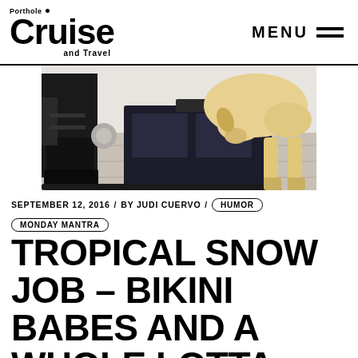Porthole Cruise and Travel — MENU
[Figure (photo): A dog sniffing a large black messenger bag on a tiled floor, with a person's boots visible on the left side.]
SEPTEMBER 12, 2016 / BY JUDI CUERVO / HUMOR / MONDAY MANTRA
TROPICAL SNOW JOB – BIKINI BABES AND A WHOLE LOTTA BLOW MADE THIS